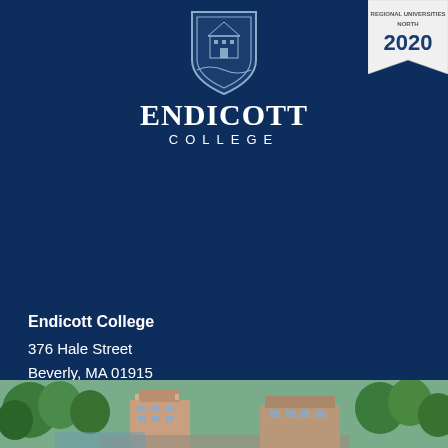[Figure (logo): Endicott College shield logo with building illustration in dark blue and white]
ENDICOTT COLLEGE
Endicott College
376 Hale Street
Beverly, MA 01915

978-927-0585
800-325-1114
Location and Directions
Directory
Contact Us
[Figure (photo): Aerial/overhead photo of Endicott College campus buildings surrounded by trees]